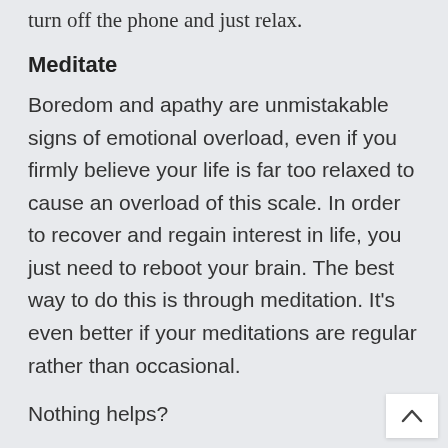turn off the phone and just relax.
Meditate
Boredom and apathy are unmistakable signs of emotional overload, even if you firmly believe your life is far too relaxed to cause an overload of this scale. In order to recover and regain interest in life, you just need to reboot your brain. The best way to do this is through meditation. It’s even better if your meditations are regular rather than occasional.
Nothing helps?
Maybe time has come to consider